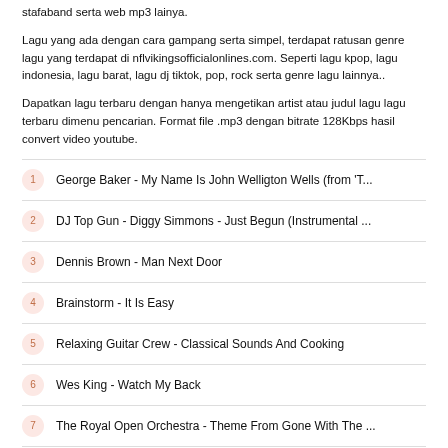stafaband serta web mp3 lainya.
Lagu yang ada dengan cara gampang serta simpel, terdapat ratusan genre lagu yang terdapat di nflvikingsofficialonlines.com. Seperti lagu kpop, lagu indonesia, lagu barat, lagu dj tiktok, pop, rock serta genre lagu lainnya..
Dapatkan lagu terbaru dengan hanya mengetikan artist atau judul lagu lagu terbaru dimenu pencarian. Format file .mp3 dengan bitrate 128Kbps hasil convert video youtube.
1 George Baker - My Name Is John Welligton Wells (from 'T...
2 DJ Top Gun - Diggy Simmons - Just Begun (Instrumental ...
3 Dennis Brown - Man Next Door
4 Brainstorm - It Is Easy
5 Relaxing Guitar Crew - Classical Sounds And Cooking
6 Wes King - Watch My Back
7 The Royal Open Orchestra - Theme From Gone With The ...